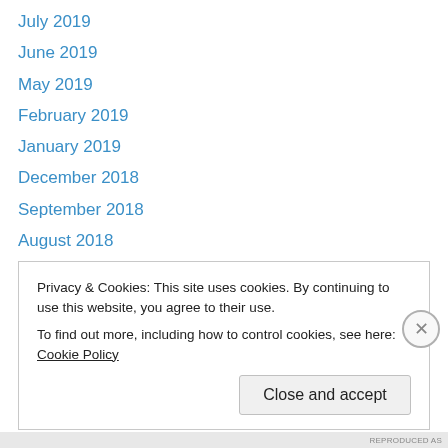July 2019
June 2019
May 2019
February 2019
January 2019
December 2018
September 2018
August 2018
July 2018
June 2018
May 2018
April 2018
March 2018
Privacy & Cookies: This site uses cookies. By continuing to use this website, you agree to their use.
To find out more, including how to control cookies, see here: Cookie Policy
Close and accept